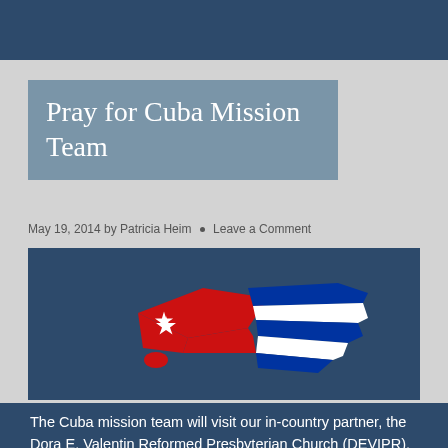Pray for Cuba Mission Team
May 19, 2014 by Patricia Heim · Leave a Comment
[Figure (illustration): 3D map of Cuba shape filled with the Cuban flag colors — red triangle with white star on left, blue and white horizontal stripes on right — against a dark navy blue background.]
The Cuba mission team will visit our in-country partner, the Dora E. Valentin Reformed Presbyterian Church (DEVIPR), in Matanzas province from May 16